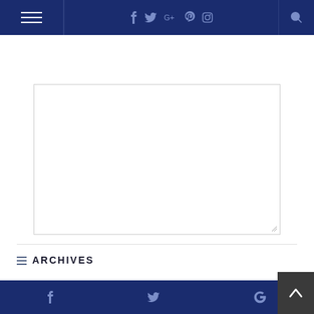Navigation bar with hamburger menu, social icons (f, Twitter, G+, Pinterest, Instagram), and search
[Figure (screenshot): Empty textarea form input field with resize handle]
SEND
ARCHIVES
AUGUST 2022
Social share bar with Facebook, Twitter, Google icons and back-to-top button